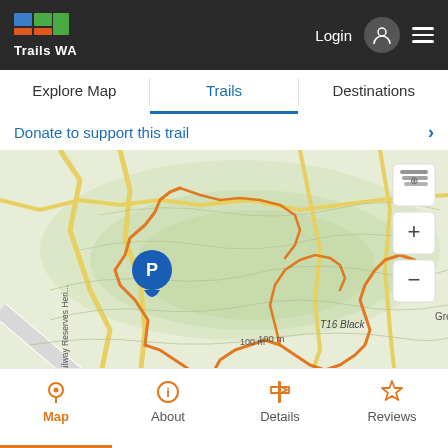Trails WA — Login, navigation menu
Explore Map | Trails | Destinations
Donate to support this trail
[Figure (map): Topographic trail map showing orange trail routes, contour lines on green terrain, a parking pin marker (P) on the left, a play/location pin marker in the center-right area labeled 'Unnamed WA45106 5 Reserve', trail label 'T16 Black', elevation markers '100m' and '150m', map controls (layers, +, -) on the right side, and label 'Gree' partially visible on far right.]
Map | About | Details | Reviews